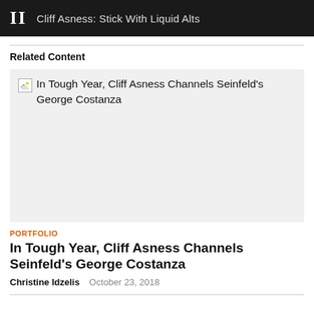II  Cliff Asness: Stick With Liquid Alts
Related Content
[Figure (photo): Broken image placeholder for article: In Tough Year, Cliff Asness Channels Seinfeld's George Costanza]
PORTFOLIO
In Tough Year, Cliff Asness Channels Seinfeld's George Costanza
Christine Idzelis  October 23, 2018